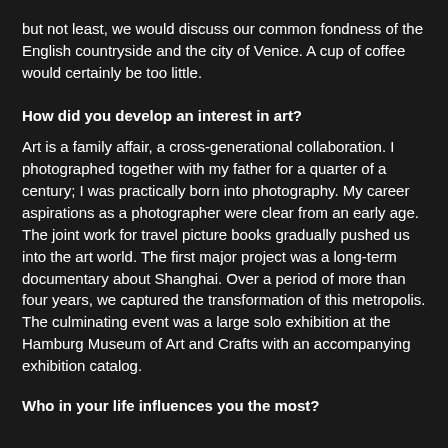but not least, we would discuss our common fondness of the English countryside and the city of Venice. A cup of coffee would certainly be too little.
How did you develop an interest in art?
Art is a family affair, a cross-generational collaboration. I photographed together with my father for a quarter of a century; I was practically born into photography. My career aspirations as a photographer were clear from an early age. The joint work for travel picture books gradually pushed us into the art world. The first major project was a long-term documentary about Shanghai. Over a period of more than four years, we captured the transformation of this metropolis. The culminating event was a large solo exhibition at the Hamburg Museum of Art and Crafts with an accompanying exhibition catalog.
Who in your life influences you the most?